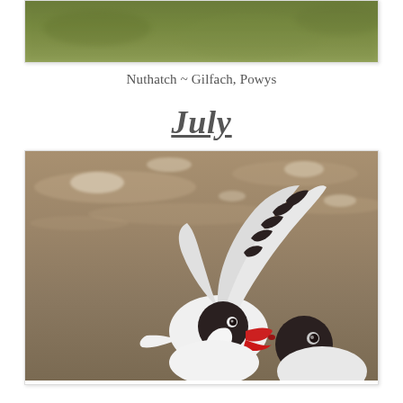[Figure (photo): Partial top view of a Nuthatch bird photo, showing green blurred background — top portion of a bird photography image]
Nuthatch ~ Gilfach, Powys
July
[Figure (photo): A seagull (Black-headed Gull) with wings raised, beak open in red, with another gull beside it, on a muddy-brown water background]